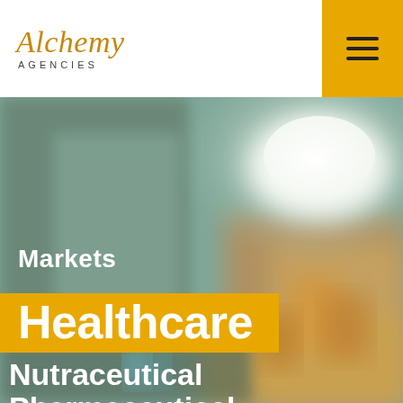[Figure (logo): Alchemy Agencies logo — italic script 'Alchemy' in gold/amber above 'AGENCIES' in small caps]
[Figure (photo): Blurred pharmacy or healthcare retail interior background image with warm ambient lighting and a bright ceiling light fixture on the right side]
Markets
Healthcare
Nutraceutical  Pharmaceutical